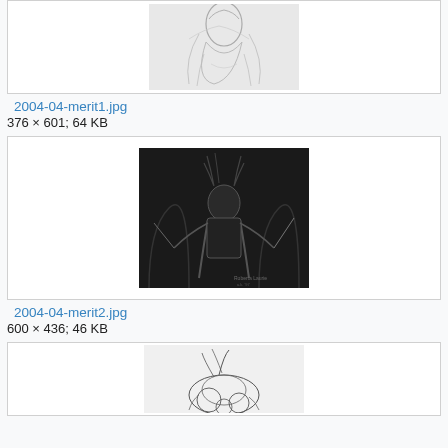[Figure (illustration): Partial view of a pencil sketch illustration of a fantasy female figure, cropped at top of page]
2004-04-merit1.jpg
376 × 601; 64 KB
[Figure (illustration): Dark fantasy illustration of an armored warrior/demon figure with antlers or horns, holding weapons, dark background with arched structures, signed by artist]
2004-04-merit2.jpg
600 × 436; 46 KB
[Figure (illustration): Partial view of a line drawing sketch of a fantasy creature or character, cropped at bottom of page]